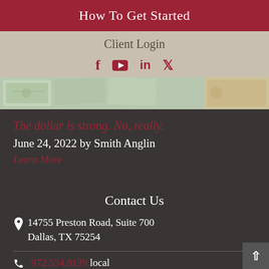How To Get Started
Client Login
[Figure (infographic): Social media icons: Facebook, YouTube, LinkedIn, Twitter in dark red/crimson color]
[Figure (photo): A strip image showing US dollar bills and money spread out]
The dollar is strong. No, really.
June 24, 2022 by Smith Anglin
Learn More
Contact Us
14755 Preston Road, Suite 700 Dallas, TX 75254
972.534.8139 local